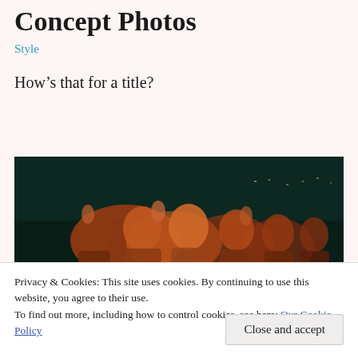Concept Photos
Style
How’s that for a title?
[Figure (photo): Dark nighttime photo of a crowd of people with warm orange/red lighting illuminating faces from below, city lights visible in background]
Privacy & Cookies: This site uses cookies. By continuing to use this website, you agree to their use.
To find out more, including how to control cookies, see here: Our Cookie Policy
Close and accept